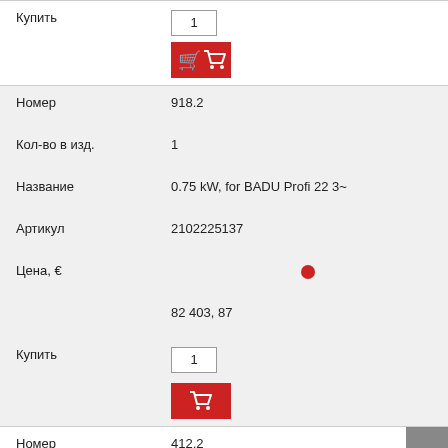Купить
1
[Figure (other): Red shopping cart button]
Номер  918.2
Кол-во в изд.  1
Название  0.75 kW, for BADU Profi 22 3~
Артикул  2102225137
Цена, €
82 403, 87
Купить
1
[Figure (other): Red shopping cart button]
Номер  412.2
Кол-во в изд.  1